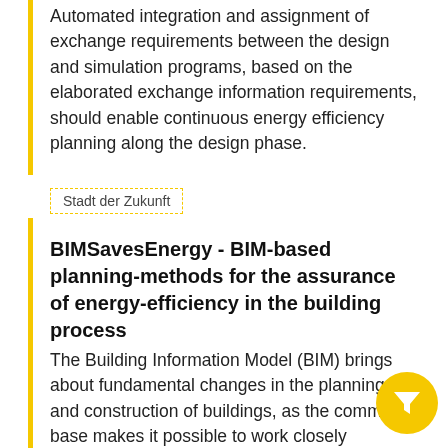Automated integration and assignment of exchange requirements between the design and simulation programs, based on the elaborated exchange information requirements, should enable continuous energy efficiency planning along the design phase.
Stadt der Zukunft
BIMSavesEnergy - BIM-based planning-methods for the assurance of energy-efficiency in the building process
The Building Information Model (BIM) brings about fundamental changes in the planning and construction of buildings, as the common base makes it possible to work closely together across disciplines in construction projects. In this project, BIM-based planning methods were developed, which make the influence of planning